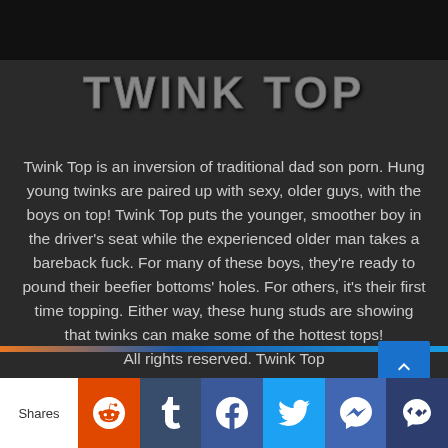TWINK TOP
Twink Top is an inversion of traditional dad son porn. Hung young twinks are paired up with sexy, older guys, with the boys on top! Twink Top puts the younger, smoother boy in the driver's seat while the experienced older man takes a bareback fuck. For many of these boys, they're ready to pound their beefier bottoms' holes. For others, it's their first time topping. Either way, these hung studs are showing that twinks can make some of the hottest tops!
All rights reserved. Twink Top
Shares | Reddit | Tumblr | Facebook | Twitter | Messenger | Mail